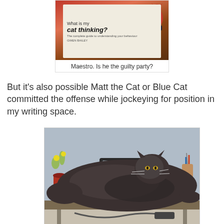[Figure (photo): Photo of a book titled 'What is my cat thinking?' lying on a surface, partially showing a cat illustration on the cover.]
Maestro. Is he the guilty party?
But it's also possible Matt the Cat or Blue Cat committed the offense while jockeying for position in my writing space.
[Figure (photo): Photo of a large fluffy grey cat lying stretched out on a desk, with a laptop, plant, and other desk items visible in the background.]